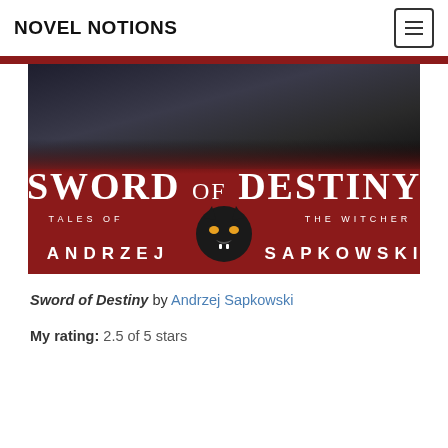NOVEL NOTIONS
[Figure (photo): Book cover of 'Sword of Destiny: Tales of the Witcher' by Andrzej Sapkowski. Red background with a wolf logo, white serif title text, and a dark atmospheric top half.]
Sword of Destiny by Andrzej Sapkowski
My rating: 2.5 of 5 stars